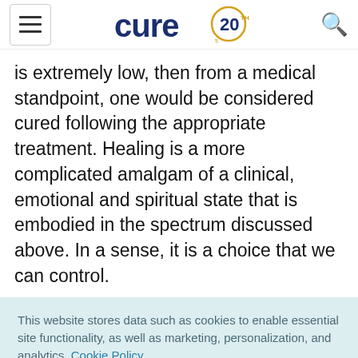cure 20th anniversary logo
is extremely low, then from a medical standpoint, one would be considered cured following the appropriate treatment. Healing is a more complicated amalgam of a clinical, emotional and spiritual state that is embodied in the spectrum discussed above. In a sense, it is a choice that we can control.
This website stores data such as cookies to enable essential site functionality, as well as marketing, personalization, and analytics. Cookie Policy
Accept
Deny